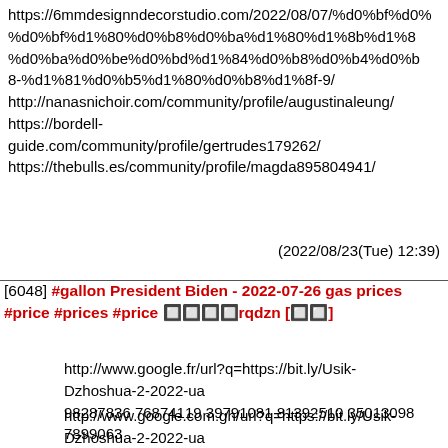https://6mmdesignndecorstudio.com/2022/08/07/%d0%bf%d0%bf%d1%80%d0%b8%d0%ba%d1%80%d1%8b%d1%8b%d0%ba%d0%be%d0%bd%d1%84%d0%b8%d0%b4%d0%b8-8-%d1%81%d0%b5%d1%80%d0%b8%d1%8f-9/ http://nanasnichoir.com/community/profile/augustinaleung/ https://bordell-guide.com/community/profile/gertrudes179262/ https://thebulls.es/community/profile/magda895804941/
(2022/08/23(Tue) 12:39)
[6048] #gallon President Biden - 2022-07-26 gas prices #price #prices #price 🔲🔲🔲🔲rqdzn [🔲🔲]
http://www.google.fr/url?q=https://bit.ly/Usik-Dzhoshua-2-2022-ua
98287836 76874119 39791081 81392510 35013098 7899063
http://www.google.com.gh/url?q=https://bit.ly/Usik-Dzhoshua-2-2022-ua
56539105 22104098 91132007 40633204 25545984